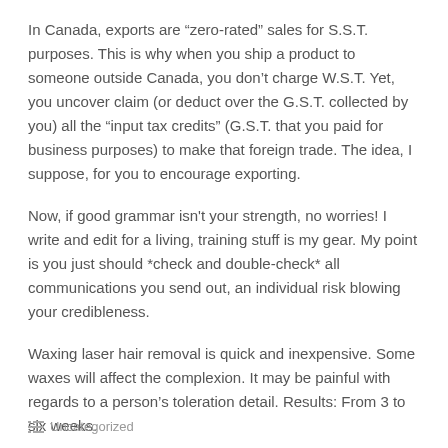In Canada, exports are “zero-rated” sales for S.S.T. purposes. This is why when you ship a product to someone outside Canada, you don’t charge W.S.T. Yet, you uncover claim (or deduct over the G.S.T. collected by you) all the “input tax credits” (G.S.T. that you paid for business purposes) to make that foreign trade. The idea, I suppose, for you to encourage exporting.
Now, if good grammar isn't your strength, no worries! I write and edit for a living, training stuff is my gear. My point is you just should *check and double-check* all communications you send out, an individual risk blowing your credibleness.
Waxing laser hair removal is quick and inexpensive. Some waxes will affect the complexion. It may be painful with regards to a person’s toleration detail. Results: From 3 to six weeks.
Uncategorized